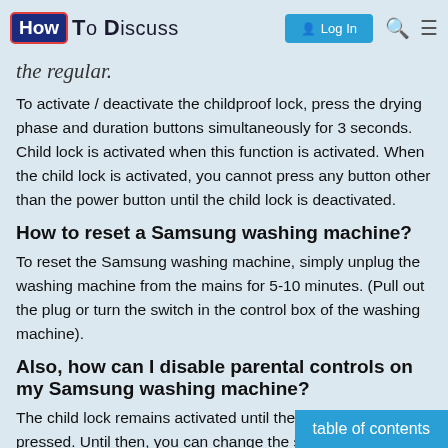HowToDiscuss — Log In
the regular.
To activate / deactivate the childproof lock, press the drying phase and duration buttons simultaneously for 3 seconds. Child lock is activated when this function is activated. When the child lock is activated, you cannot press any button other than the power button until the child lock is deactivated.
How to reset a Samsung washing machine?
To reset the Samsung washing machine, simply unplug the washing machine from the mains for 5-10 minutes. (Pull out the plug or turn the switch in the control box of the washing machine).
Also, how can I disable parental controls on my Samsung washing machine?
The child lock remains activated until the S… pressed. Until then, you can change the se…
table of contents